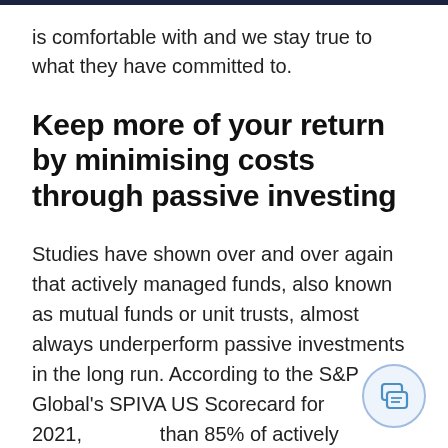is comfortable with and we stay true to what they have committed to.
Keep more of your return by minimising costs through passive investing
Studies have shown over and over again that actively managed funds, also known as mutual funds or unit trusts, almost always underperform passive investments in the long run. According to the S&P Global's SPIVA US Scorecard for 2021, than 85% of actively managed US large-